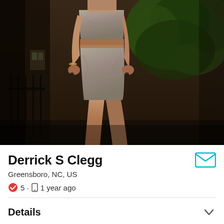[Figure (photo): Profile photo of a person wearing a gray/taupe cutout two-piece velvet outfit, posing outdoors with trees and a building in the background.]
Derrick S Clegg
Greensboro, NC, US
5 · 1 year ago
Details